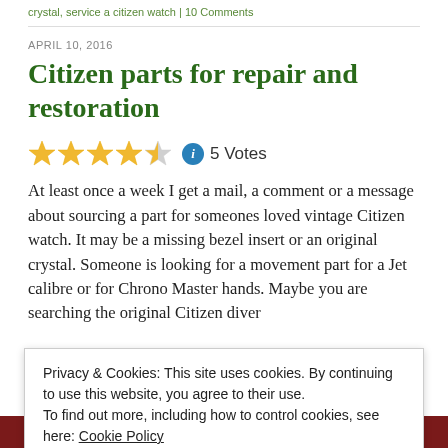crystal, service a citizen watch | 10 Comments
APRIL 10, 2016
Citizen parts for repair and restoration
5 Votes
At least once a week I get a mail, a comment or a message about sourcing a part for someones loved vintage Citizen watch. It may be a missing bezel insert or an original crystal. Someone is looking for a movement part for a Jet calibre or for Chrono Master hands. Maybe you are searching the original Citizen diver
Privacy & Cookies: This site uses cookies. By continuing to use this website, you agree to their use.
To find out more, including how to control cookies, see here: Cookie Policy
Close and accept